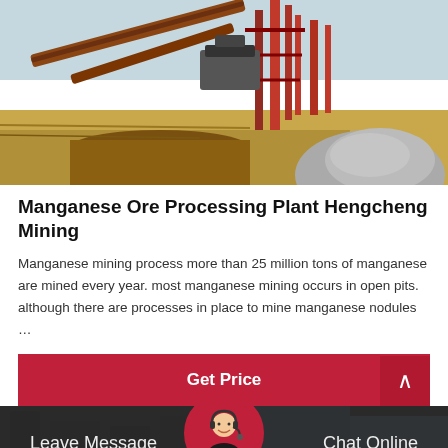[Figure (photo): Aerial/ground-level view of a manganese ore mining and processing plant with conveyor belts, metal structures, gravel piles, and excavated ground channels.]
Manganese Ore Processing Plant Hengcheng Mining
Manganese mining process more than 25 million tons of manganese are mined every year. most manganese mining occurs in open pits. although there are processes in place to mine manganese nodules …
Get Price
[Figure (photo): Partial view of mining equipment and machinery at a processing plant site.]
Leave Message
Chat Online